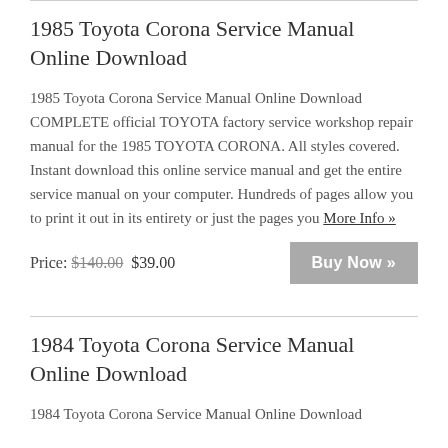1985 Toyota Corona Service Manual Online Download
1985 Toyota Corona Service Manual Online Download COMPLETE official TOYOTA factory service workshop repair manual for the 1985 TOYOTA CORONA. All styles covered. Instant download this online service manual and get the entire service manual on your computer. Hundreds of pages allow you to print it out in its entirety or just the pages you More Info »
Price: $140.00 $39.00
1984 Toyota Corona Service Manual Online Download
1984 Toyota Corona Service Manual Online Download